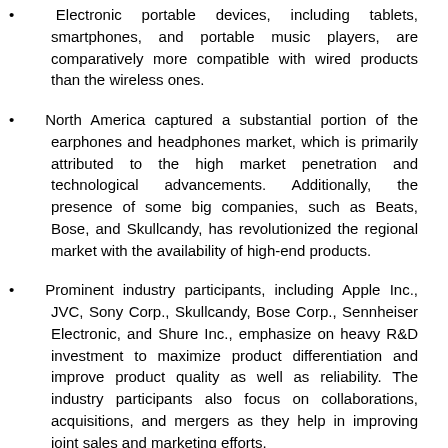Electronic portable devices, including tablets, smartphones, and portable music players, are comparatively more compatible with wired products than the wireless ones.
North America captured a substantial portion of the earphones and headphones market, which is primarily attributed to the high market penetration and technological advancements. Additionally, the presence of some big companies, such as Beats, Bose, and Skullcandy, has revolutionized the regional market with the availability of high-end products.
Prominent industry participants, including Apple Inc., JVC, Sony Corp., Skullcandy, Bose Corp., Sennheiser Electronic, and Shure Inc., emphasize on heavy R&D investment to maximize product differentiation and improve product quality as well as reliability. The industry participants also focus on collaborations, acquisitions, and mergers as they help in improving joint sales and marketing efforts.